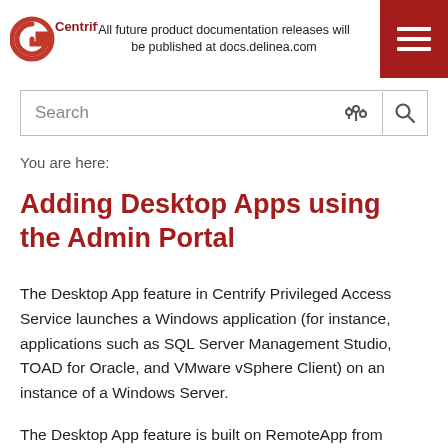All future product documentation releases will be published at docs.delinea.com
[Figure (logo): Centrify logo - red circular G icon with Centrify wordmark in dark red]
Search
You are here:
Adding Desktop Apps using the Admin Portal
The Desktop App feature in Centrify Privileged Access Service launches a Windows application (for instance, applications such as SQL Server Management Studio, TOAD for Oracle, and VMware vSphere Client) on an instance of a Windows Server.
The Desktop App feature is built on RemoteApp from